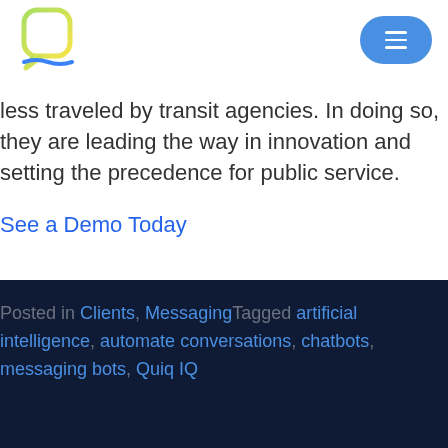[Figure (logo): Quiq logo — speech bubble shaped Q with green-to-yellow gradient outline and blue wave underline]
less traveled by transit agencies. In doing so, they are leading the way in innovation and setting the precedence for public service.
See a Demo Today
Posted in Clients, MessagingTagged artificial intelligence, automate conversations, chatbots, messaging bots, Quiq IQ